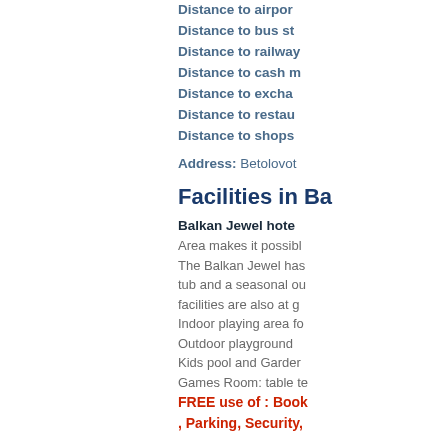Distance to airport
Distance to bus st
Distance to railway
Distance to cash m
Distance to excha
Distance to restau
Distance to shops
Address: Betolovot
Facilities in Ba
Balkan Jewel hote
Area makes it possibl
The Balkan Jewel has
tub and a seasonal ou
facilities are also at g
Indoor playing area fo
Outdoor playground
Kids pool and Garder
Games Room: table te
FREE use of : Book
, Parking, Security,